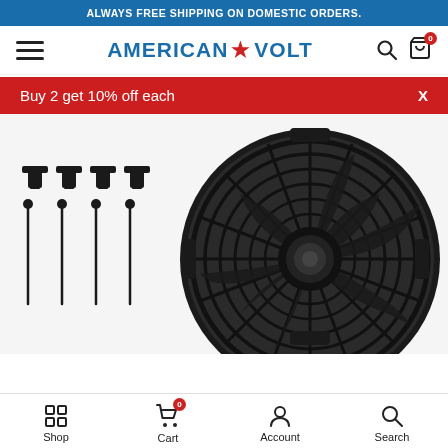ALWAYS FREE SHIPPING ON DOMESTIC ORDERS.
[Figure (logo): American Volt logo with hamburger menu, search icon, and cart icon with badge 0]
Buy 2 get 10% off each  X
[Figure (photo): Large black electric cooling fan with mounting hardware (brackets and wire clips) on left side, fan shown at close range against white background]
Shop  Cart (0)  Account  Search